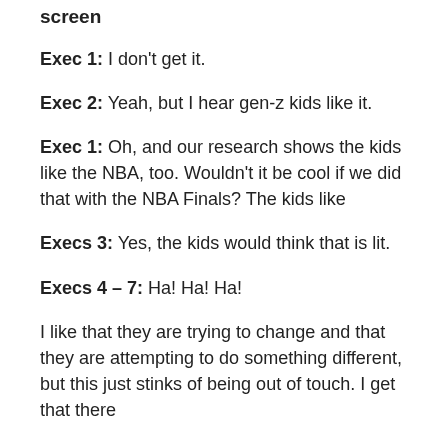screen
Exec 1: I don't get it.
Exec 2: Yeah, but I hear gen-z kids like it.
Exec 1: Oh, and our research shows the kids like the NBA, too. Wouldn't it be cool if we did that with the NBA Finals? The kids like
Execs 3: Yes, the kids would think that is lit.
Execs 4 – 7: Ha! Ha! Ha!
I like that they are trying to change and that they are attempting to do something different, but this just stinks of being out of touch. I get that there